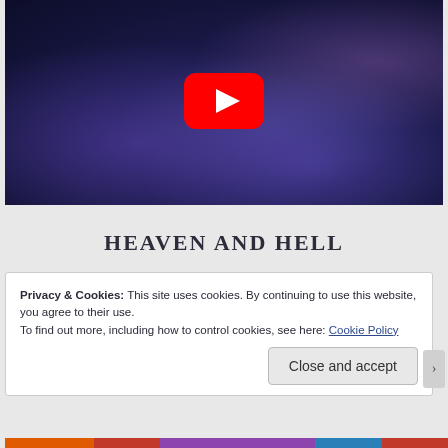[Figure (screenshot): YouTube video thumbnail showing a dark purple/blue video frame with a red YouTube play button icon centered at the top]
HEAVEN AND HELL
Privacy & Cookies: This site uses cookies. By continuing to use this website, you agree to their use.
To find out more, including how to control cookies, see here: Cookie Policy
Close and accept